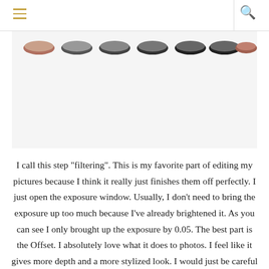[Menu icon] [Search icon]
[Figure (photo): A row of seven circular bowls or cups photographed from above on a white background, showing varying shades from reddish-brown to dark gray/black]
I call this step "filtering". This is my favorite part of editing my pictures because I think it really just finishes them off perfectly. I just open the exposure window. Usually, I don't need to bring the exposure up too much because I've already brightened it. As you can see I only brought up the exposure by 0.05. The best part is the Offset. I absolutely love what it does to photos. I feel like it gives more depth and a more stylized look. I would just be careful because it can give your